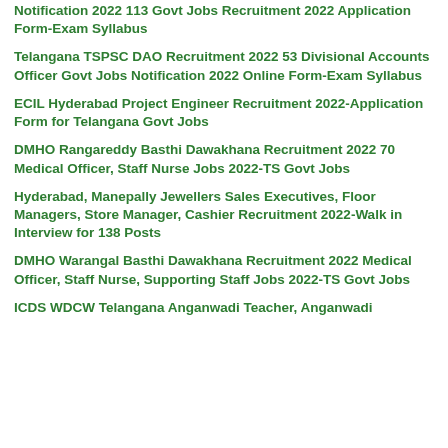Notification 2022 113 Govt Jobs Recruitment 2022 Application Form-Exam Syllabus
Telangana TSPSC DAO Recruitment 2022 53 Divisional Accounts Officer Govt Jobs Notification 2022 Online Form-Exam Syllabus
ECIL Hyderabad Project Engineer Recruitment 2022-Application Form for Telangana Govt Jobs
DMHO Rangareddy Basthi Dawakhana Recruitment 2022 70 Medical Officer, Staff Nurse Jobs 2022-TS Govt Jobs
Hyderabad, Manepally Jewellers Sales Executives, Floor Managers, Store Manager, Cashier Recruitment 2022-Walk in Interview for 138 Posts
DMHO Warangal Basthi Dawakhana Recruitment 2022 Medical Officer, Staff Nurse, Supporting Staff Jobs 2022-TS Govt Jobs
ICDS WDCW Telangana Anganwadi Teacher, Anganwadi